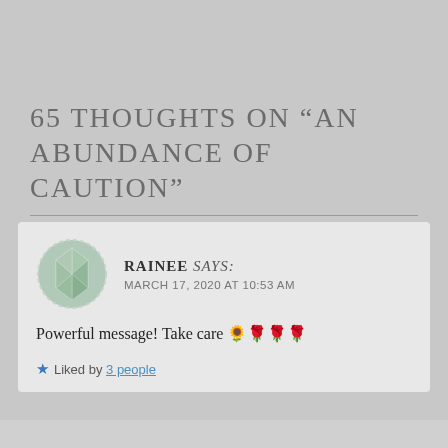65 THOUGHTS ON “AN ABUNDANCE OF CAUTION”
RAINEE says:
MARCH 17, 2020 AT 10:53 AM
Powerful message! Take care 🌻🌹🌹🌹
Liked by 3 people